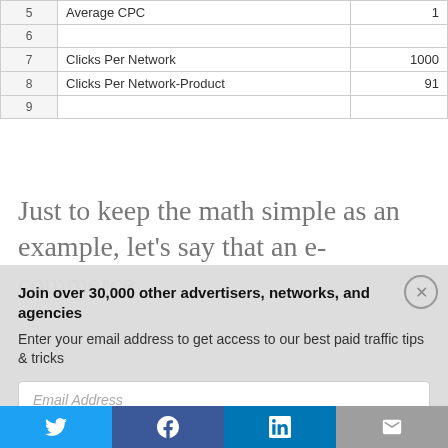| # | Name | Value |
| --- | --- | --- |
| 5 | Average CPC | 1 |
| 6 |  |  |
| 7 | Clicks Per Network | 1000 |
| 8 | Clicks Per Network-Product | 91 |
| 9 |  |  |
Just to keep the math simple as an example, let's say that an e-commerce
Join over 30,000 other advertisers, networks, and agencies
Enter your email address to get access to our best paid traffic tips & tricks